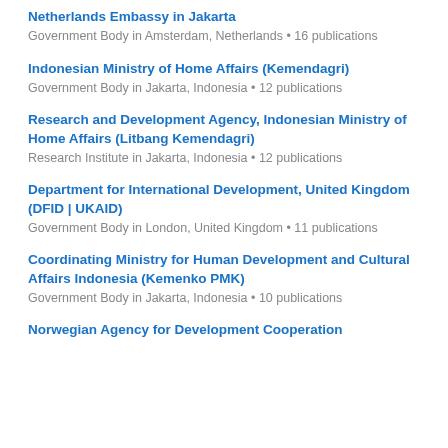Netherlands Embassy in Jakarta
Government Body in Amsterdam, Netherlands • 16 publications
Indonesian Ministry of Home Affairs (Kemendagri)
Government Body in Jakarta, Indonesia • 12 publications
Research and Development Agency, Indonesian Ministry of Home Affairs (Litbang Kemendagri)
Research Institute in Jakarta, Indonesia • 12 publications
Department for International Development, United Kingdom (DFID | UKAID)
Government Body in London, United Kingdom • 11 publications
Coordinating Ministry for Human Development and Cultural Affairs Indonesia (Kemenko PMK)
Government Body in Jakarta, Indonesia • 10 publications
Norwegian Agency for Development Cooperation